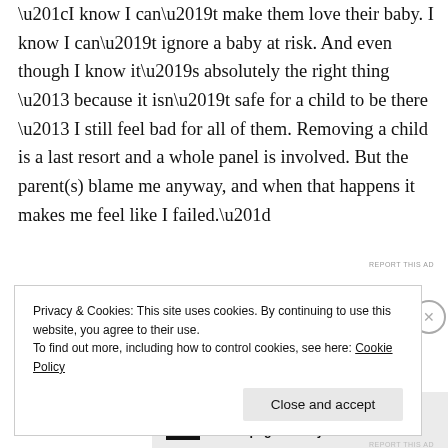“I know I can’t make them love their baby. I know I can’t ignore a baby at risk. And even though I know it’s absolutely the right thing – because it isn’t safe for a child to be there – I still feel bad for all of them. Removing a child is a last resort and a whole panel is involved. But the parent(s) blame me anyway, and when that happens it makes me feel like I failed.”
[Figure (other): Advertisement banner for P2 product with logo and text: 'Getting your team on the same page is easy. And free.']
Privacy & Cookies: This site uses cookies. By continuing to use this website, you agree to their use.
To find out more, including how to control cookies, see here: Cookie Policy
Close and accept